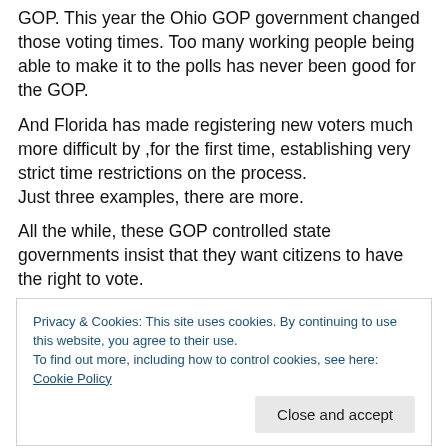GOP. This year the Ohio GOP government changed those voting times. Too many working people being able to make it to the polls has never been good for the GOP.
And Florida has made registering new voters much more difficult by ,for the first time, establishing very strict time restrictions on the process. Just three examples, there are more.
All the while, these GOP controlled state governments insist that they want citizens to have the right to vote. They WANT citizens to vote. They want all citizens to be
Privacy & Cookies: This site uses cookies. By continuing to use this website, you agree to their use.
To find out more, including how to control cookies, see here: Cookie Policy
OK, let's call their bluff. Let's see if the GOP would join us